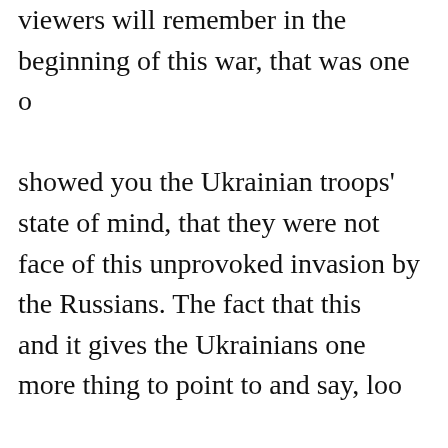viewers will remember in the beginning of this war, that was one of showed you the Ukrainian troops' state of mind, that they were not face of this unprovoked invasion by the Russians. The fact that this and it gives the Ukrainians one more thing to point to and say, look the Russians, we are capable, we can protect and defend our homeland. staggering.
KEILAR: Matt, thank you so much for that. We do appreciate it. Jo
BERMAN: President Biden unveiling a new $800 million military Ukraine. So, what exactly is in it? One man has the answer.
CNN's Tom Foreman here to lay it out for us. Tom?
TOM FOREMAN, CNN CORRESPONDENT: Hey, John. If you lo of heavy hardware, 11 of these Mi-17 helicopters, many of these ca